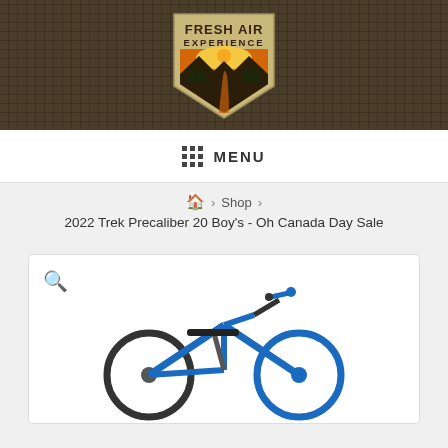[Figure (logo): Fresh Air Experience logo — shield shape with mountain/forest/sunset scene, text FRESH AIR EXPERIENCE on a dark checkered background banner]
MENU
🏠 > Shop > 2022 Trek Precaliber 20 Boy's - Oh Canada Day Sale
2022 Trek Precaliber 20 Boy's - Oh Canada Day Sale
[Figure (photo): Blue Trek Precaliber 20 kids bicycle, partially visible in product image box with a magnify/zoom icon in the top-left corner]